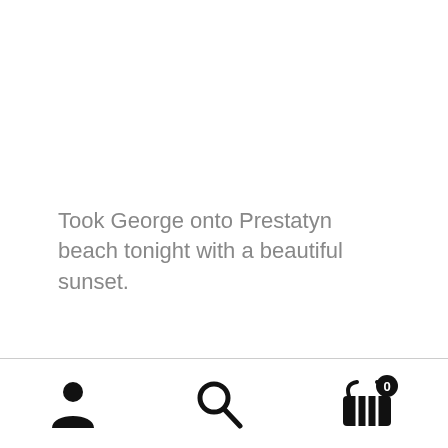Took George onto Prestatyn beach tonight with a beautiful sunset.
[Figure (screenshot): Mobile app bottom navigation bar with three icons: a person/profile icon on the left, a search/magnifying glass icon in the center, and a shopping basket icon with a badge showing '0' on the right.]